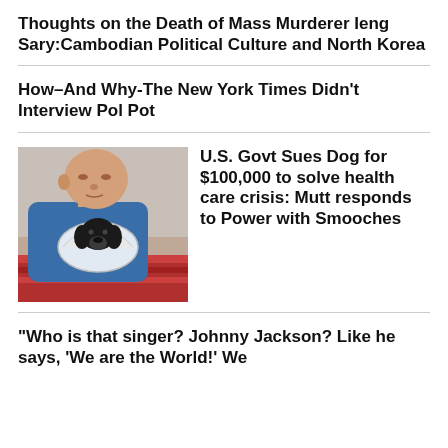Thoughts on the Death of Mass Murderer Ieng Sary:Cambodian Political Culture and North Korea
How–And Why-The New York Times Didn't Interview Pol Pot
[Figure (photo): An older bald man holding a small black dog wearing a veterinary cone collar]
U.S. Govt Sues Dog for $100,000 to solve health care crisis: Mutt responds to Power with Smooches
"Who is that singer? Johnny Jackson? Like he says, 'We are the World!' We